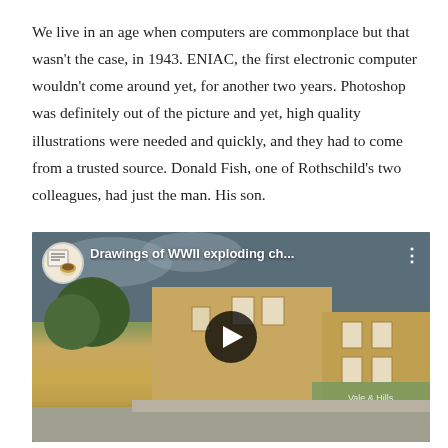We live in an age when computers are commonplace but that wasn't the case, in 1943. ENIAC, the first electronic computer wouldn't come around yet, for another two years. Photoshop was definitely out of the picture and yet, high quality illustrations were needed and quickly, and they had to come from a trusted source. Donald Fish, one of Rothschild's two colleagues, had just the man. His son.
[Figure (screenshot): Embedded YouTube video thumbnail showing a street scene with stone buildings and a video play button overlay. Channel icon shows a newspaper and coffee cup. Title reads 'Drawings of WWII exploding ch...']